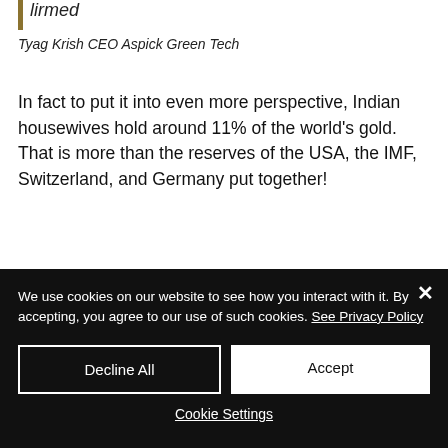…lirmed
Tyag Krish CEO Aspick Green Tech
In fact to put it into even more perspective, Indian housewives hold around 11% of the world's gold. That is more than the reserves of the USA, the IMF, Switzerland, and Germany put together!
So it can safely be said that Indians…
We use cookies on our website to see how you interact with it. By accepting, you agree to our use of such cookies. See Privacy Policy
Decline All
Accept
Cookie Settings